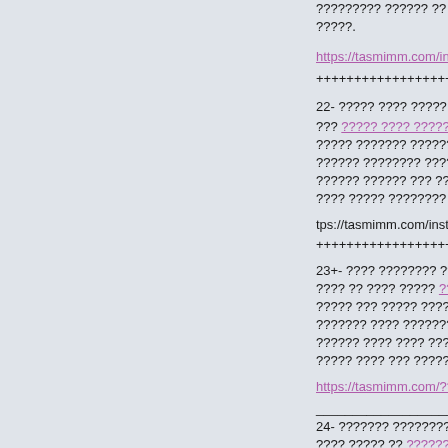????????? ?????? ?? ???? ?????? ????? ???? ?????.
https://tasmimm.com/installation-of-kitchens-medina
+++++++++++++++++++++++++++++++
22- ????? ???? ????? ???????? ???????
??? ????? ???? ????? ???????? ??????? ??? ??? ????? ??????? ?????? ????? ?????? ??????? ?????? ???????? ??????? ?????? ?? ????? ???? ?????? ?????? ??? ?????? ????? ??? ????? ??? ???? ????? ???????? ??????? ?????? ???? ????
tps://tasmimm.com/installation-of-ikea-furniture-mec
++++++++++++++++++++++++
23+- ???? ???????? ???????
???? ?? ???? ????? ???? ???? ???????? ??????? ????? ??? ????? ????? ?????? ??? ?????? ???? ??????? ?????? ??????? ??????? ?????? ???? ???? ??? ?? ?? ????? ??????? ???? ????? ???? ??? ????? ?? ???? ????? ?? ?? ????
https://tasmimm.com/????-????-????????-??????
___________________________
24- ??????? ???????? ???????
???? ????? ?? ??????? ???????? ??????? ???? ?